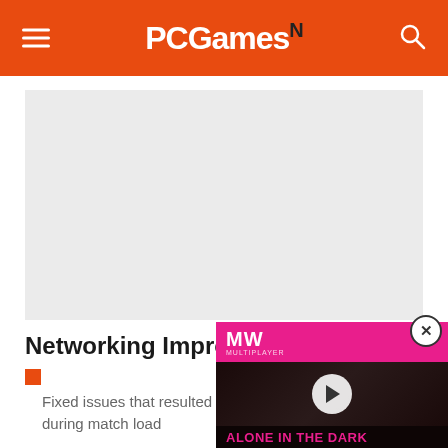PCGamesN
[Figure (screenshot): Gray advertisement placeholder area]
Networking Improve...
Fixed issues that resulted in b... during match load
[Figure (screenshot): Video overlay showing Alone in the Dark Remake with MW logo and play button, with close button]